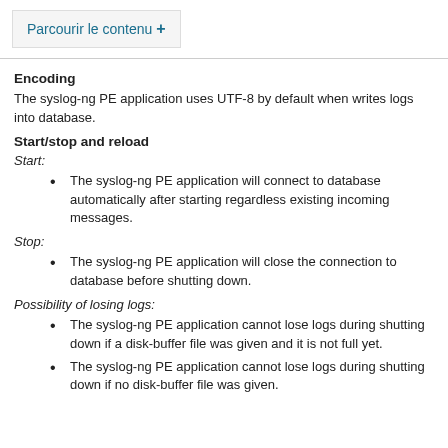Parcourir le contenu +
Encoding
The syslog-ng PE application uses UTF-8 by default when writes logs into database.
Start/stop and reload
Start:
The syslog-ng PE application will connect to database automatically after starting regardless existing incoming messages.
Stop:
The syslog-ng PE application will close the connection to database before shutting down.
Possibility of losing logs:
The syslog-ng PE application cannot lose logs during shutting down if a disk-buffer file was given and it is not full yet.
The syslog-ng PE application cannot lose logs during shutting down if no disk-buffer file was given.